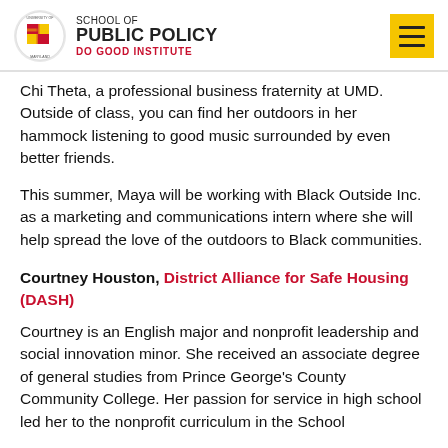School of Public Policy — Do Good Institute
Chi Theta, a professional business fraternity at UMD. Outside of class, you can find her outdoors in her hammock listening to good music surrounded by even better friends.
This summer, Maya will be working with Black Outside Inc. as a marketing and communications intern where she will help spread the love of the outdoors to Black communities.
Courtney Houston, District Alliance for Safe Housing (DASH)
Courtney is an English major and nonprofit leadership and social innovation minor. She received an associate degree of general studies from Prince George's County Community College. Her passion for service in high school led her to the nonprofit curriculum in the School